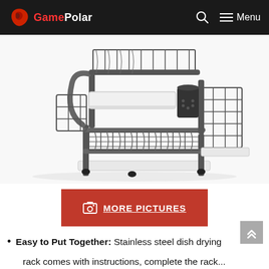GamePolar
[Figure (photo): Two-tier stainless steel dish drying rack with wire baskets, white drip tray, utensil holder cup, and side basket organizer, shown on white background.]
[Figure (other): Red button with camera icon labeled 'MORE PICTURES']
Easy to Put Together: Stainless steel dish drying rack comes with instructions, complete the rack...